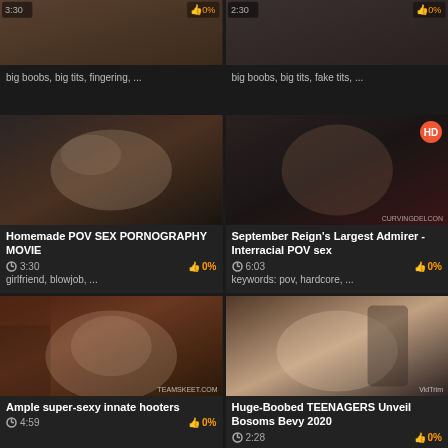[Figure (screenshot): Video thumbnail top-left partial]
big boobs, big tits, fingering, ...
[Figure (screenshot): Video thumbnail top-right partial]
big boobs, big tits, fake tits, ...
[Figure (screenshot): Homemade POV SEX PORNOGRAPHY MOVIE thumbnail]
Homemade POV SEX PORNOGRAPHY MOVIE
3:30   0%   girlfriend, blowjob, ...
[Figure (screenshot): September Reign's Largest Admirer - Interracial POV sex thumbnail, HD badge]
September Reign's Largest Admirer - Interracial POV sex
6:03   0%   keywords: pov, hardcore, ...
[Figure (screenshot): Ample super-sexy innate hooters thumbnail, TEAMSKEET.COM watermark]
Ample super-sexy innate hooters
4:59   0%
[Figure (screenshot): Huge-Boobed TEENAGERS Unveil Bosoms Bevy 2020 thumbnail, VidTrim watermark]
Huge-Boobed TEENAGERS Unveil Bosoms Bevy 2020
2:28   0%